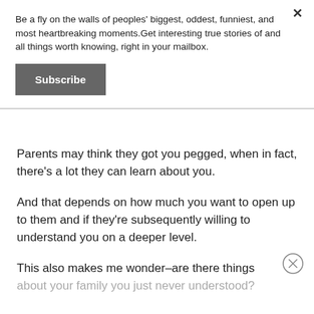Be a fly on the walls of peoples' biggest, oddest, funniest, and most heartbreaking moments.Get interesting true stories of and all things worth knowing, right in your mailbox.
Subscribe
Parents may think they got you pegged, when in fact, there's a lot they can learn about you.
And that depends on how much you want to open up to them and if they're subsequently willing to understand you on a deeper level.
This also makes me wonder–are there things about your family you just never understood? And are you willing to join the that to...